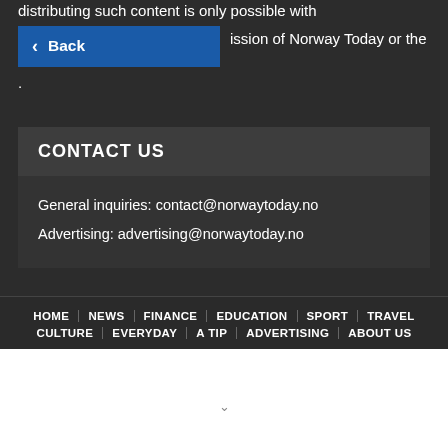distributing such content is only possible with permission of Norway Today or the .
Back
CONTACT US
General inquiries: contact@norwaytoday.no
Advertising: advertising@norwaytoday.no
HOME | NEWS | FINANCE | EDUCATION | SPORT | TRAVEL | CULTURE | EVERYDAY | A TIP | ADVERTISING | ABOUT US